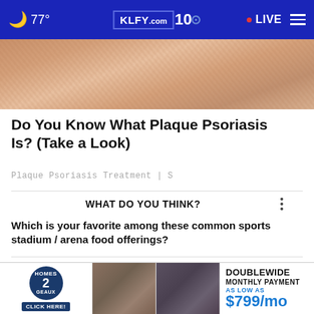🌙 77° | KLFY.com 10 | • LIVE
[Figure (photo): Close-up photo of skin texture, pinkish-tan tone]
Do You Know What Plaque Psoriasis Is? (Take a Look)
Plaque Psoriasis Treatment | S
WHAT DO YOU THINK?
Which is your favorite among these common sports stadium / arena food offerings?
Burgers / Sandwiches
[Figure (screenshot): Homes 2 Geaux advertisement banner: DOUBLEWIDE MONTHLY PAYMENT AS LOW AS $799/mo with home interior images]